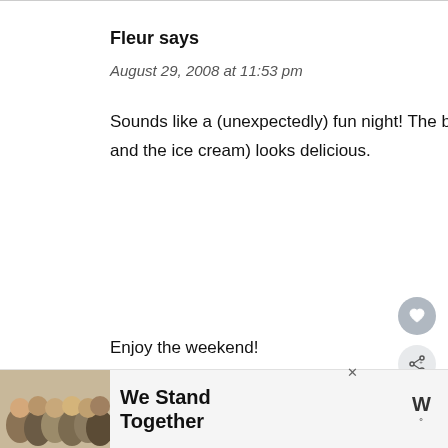Fleur says
August 29, 2008 at 11:53 pm
Sounds like a (unexpectedly) fun night! The beer sampler looks neat and the food (particularly the pizza and the ice cream) looks delicious.
Enjoy the weekend!
Reply
[Figure (screenshot): Heart (like) button icon, circular gray button]
[Figure (screenshot): Share button icon, circular light gray button with share symbol]
[Figure (screenshot): What's Next panel with thumbnail image and text 'Cake Walk']
[Figure (screenshot): Advertisement banner: group photo with text 'We Stand Together' and logo]